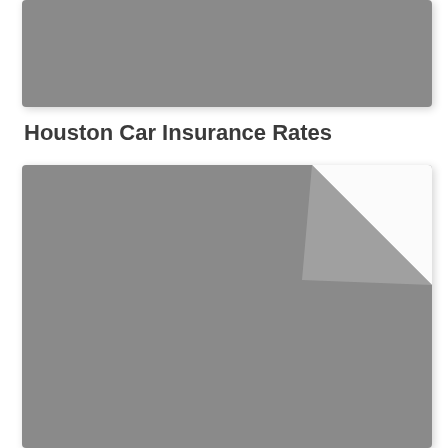[Figure (photo): Gray placeholder image card at top of page with rounded corners and shadow]
Houston Car Insurance Rates
[Figure (photo): Large gray placeholder image card with a folded/dog-eared corner effect in the upper right, with rounded corners and shadow]